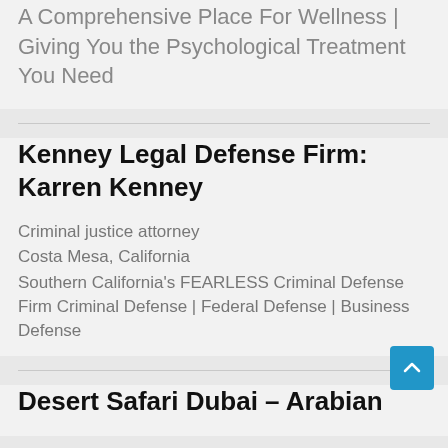A Comprehensive Place For Wellness | Giving You the Psychological Treatment You Need
Kenney Legal Defense Firm: Karren Kenney
Criminal justice attorney
Costa Mesa, California
Southern California's FEARLESS Criminal Defense Firm Criminal Defense | Federal Defense | Business Defense
Desert Safari Dubai – Arabian